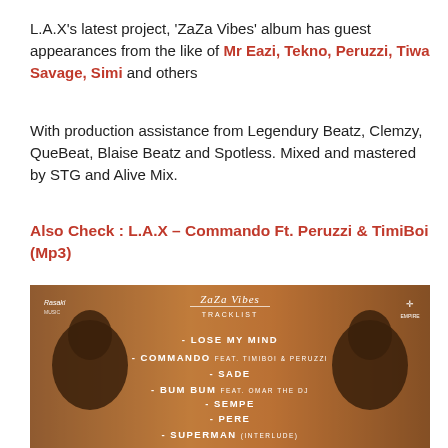L.A.X's latest project, 'ZaZa Vibes' album has guest appearances from the like of Mr Eazi, Tekno, Peruzzi, Tiwa Savage, Simi and others
With production assistance from Legendury Beatz, Clemzy, QueBeat, Blaise Beatz and Spotless. Mixed and mastered by STG and Alive Mix.
Also Check : L.A.X – Commando Ft. Peruzzi & TimiBoi (Mp3)
[Figure (photo): ZaZa Vibes album tracklist image showing two men facing each other with tracklist: LOSE MY MIND, COMMANDO feat. TIMIBOI & PERUZZI, SADE, BUM BUM feat. OMAR THE DJ, SEMPE, PERE, SUPERMAN (INTERLUDE)]